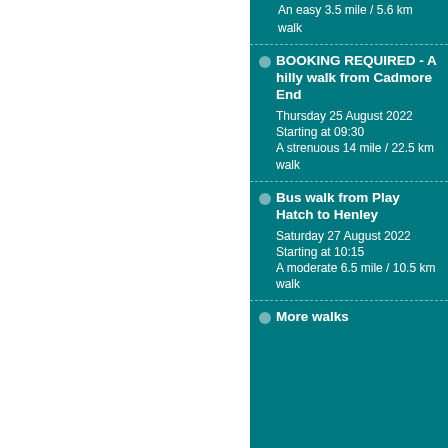An easy 3.5 mile / 5.6 km walk
BOOKING REQUIRED - A hilly walk from Cadmore End
Thursday 25 August 2022
Starting at 09:30
A strenuous 14 mile / 22.5 km walk
Bus walk from Play Hatch to Henley
Saturday 27 August 2022
Starting at 10:15
A moderate 6.5 mile / 10.5 km walk
More walks